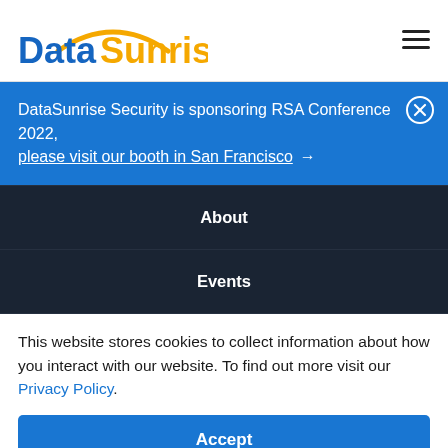[Figure (logo): DataSunrise logo with orange arc above text. 'Data' in blue bold, 'Sunrise' in orange bold.]
DataSunrise Security is sponsoring RSA Conference 2022, please visit our booth in San Francisco →
About
Events
This website stores cookies to collect information about how you interact with our website. To find out more visit our Privacy Policy.
Accept